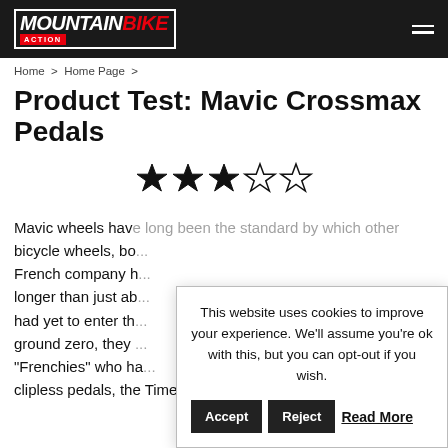MOUNTAIN BIKE ACTION
Home > Home Page >
Product Test: Mavic Crossmax Pedals
[Figure (other): 3 out of 5 stars rating: three filled stars and two empty stars]
Mavic wheels have long been the standard by which other bicycle wheels, bo... French company h... longer than just ab... had yet to enter th... ground zero, they ... "Frenchies" who ha... clipless pedals, the Time group. We set out to test them on the
This website uses cookies to improve your experience. We'll assume you're ok with this, but you can opt-out if you wish. Accept Reject Read More